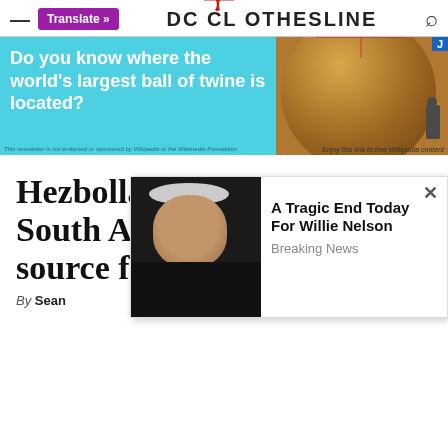DC CLOTHESLINE
[Figure (screenshot): Advertisement banner with cyan background showing 'Do you know where the world's largest ball of twine is located?' with an image of a large ball of twine on the right side.]
Hezbollah’s presence in South America is potential source for Ira[n]
By Sean
[Figure (screenshot): A popup ad overlay showing a photo of Willie Nelson (elderly man with white hair and dark clothing) alongside the text 'A Tragic End Today For Willie Nelson' and 'Breaking News']